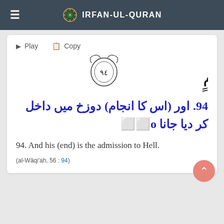IRFAN-UL-QURAN
[Figure (other): Arabic Quranic verse text with verse number 94 in decorative circle: وَتَصۡلِیَةُ جَحِیمٍ]
94. اور (اس کا انجام) دوزخ میں داخل کر دیا جانا o
94. And his (end) is the admission to Hell.
(al-Wāqi'ah, 56 : 94)